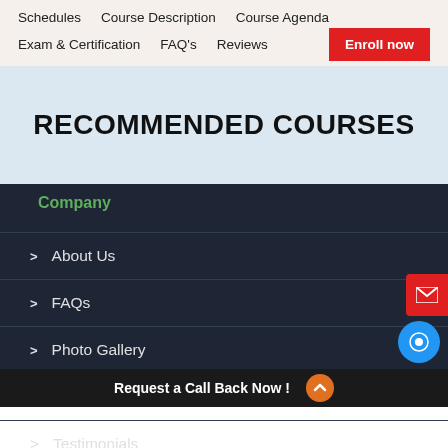Schedules   Course Description   Course Agenda
Exam & Certification   FAQ's   Reviews   Enroll now
RECOMMENDED COURSES
Company
> About Us
> FAQs
> Photo Gallery
> Videos
> Testimonials
Request a Call Back Now !